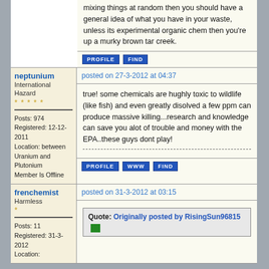mixing things at random then you should have a general idea of what you have in your waste, unless its experimental organic chem then you're up a murky brown tar creek.
PROFILE   FIND
neptunium
International Hazard
*****
Posts: 974
Registered: 12-12-2011
Location: between Uranium and Plutonium
Member Is Offline
posted on 27-3-2012 at 04:37
true! some chemicals are hughly toxic to wildlife (like fish) and even greatly disolved a few ppm can produce massive killing...research and knowledge can save you alot of trouble and money with the EPA..these guys dont play!
PROFILE   WWW   FIND
frenchemist
Harmless
*
Posts: 11
Registered: 31-3-2012
Location:
posted on 31-3-2012 at 03:15
Quote: Originally posted by RisingSun96815